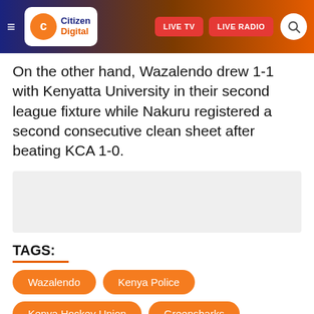Citizen Digital — LIVE TV | LIVE RADIO
On the other hand, Wazalendo drew 1-1 with Kenyatta University in their second league fixture while Nakuru registered a second consecutive clean sheet after beating KCA 1-0.
[Figure (other): Advertisement placeholder box]
TAGS:
Wazalendo
Kenya Police
Kenya Hockey Union
Greensharks